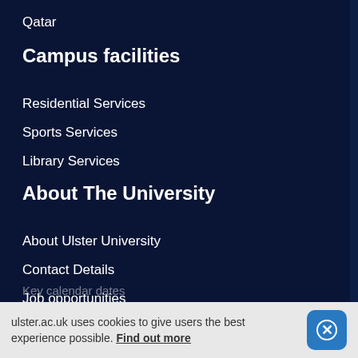Qatar
Campus facilities
Residential Services
Sports Services
Library Services
About The University
About Ulster University
Contact Details
Job opportunities
Key calendar dates
Faculties
ulster.ac.uk uses cookies to give users the best experience possible. Find out more